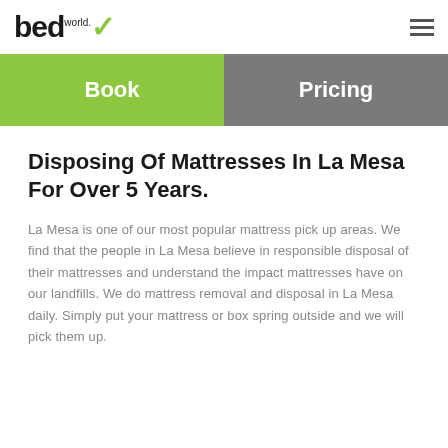bed world.
Book | Pricing
Disposing Of Mattresses In La Mesa For Over 5 Years.
La Mesa is one of our most popular mattress pick up areas. We find that the people in La Mesa believe in responsible disposal of their mattresses and understand the impact mattresses have on our landfills. We do mattress removal and disposal in La Mesa daily. Simply put your mattress or box spring outside and we will pick them up.